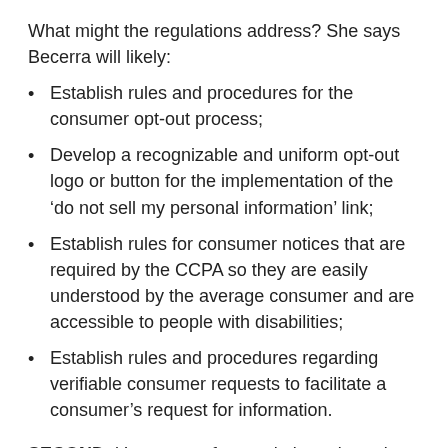What might the regulations address? She says Becerra will likely:
Establish rules and procedures for the consumer opt-out process;
Develop a recognizable and uniform opt-out logo or button for the implementation of the ‘do not sell my personal information’ link;
Establish rules for consumer notices that are required by the CCPA so they are easily understood by the average consumer and are accessible to people with disabilities;
Establish rules and procedures regarding verifiable consumer requests to facilitate a consumer’s request for information.
SECOND, it’s not over for regulating privacy in